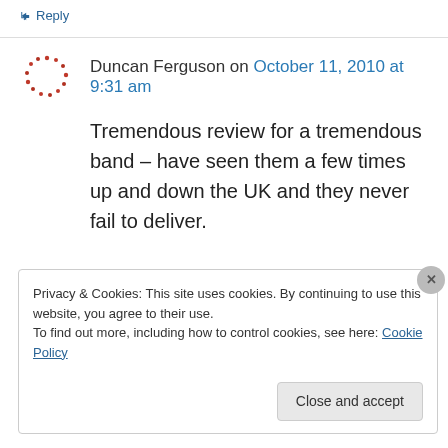↳ Reply
Duncan Ferguson on October 11, 2010 at 9:31 am
Tremendous review for a tremendous band – have seen them a few times up and down the UK and they never fail to deliver.

Come to Glasgow again soon lads!x
↳ Reply
Privacy & Cookies: This site uses cookies. By continuing to use this website, you agree to their use.
To find out more, including how to control cookies, see here: Cookie Policy